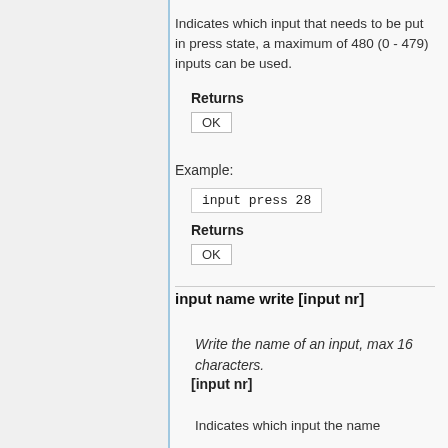Indicates which input that needs to be put in press state, a maximum of 480 (0 - 479) inputs can be used.
Returns
OK
Example:
input press 28
Returns
OK
input name write [input nr]
Write the name of an input, max 16 characters.
[input nr]
Indicates which input the name